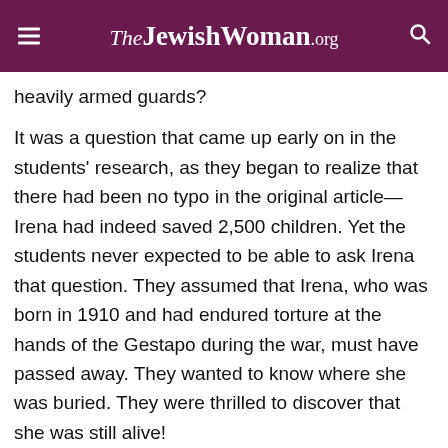TheJewishWoman.org
heavily armed guards?
It was a question that came up early on in the students' research, as they began to realize that there had been no typo in the original article—Irena had indeed saved 2,500 children. Yet the students never expected to be able to ask Irena that question. They assumed that Irena, who was born in 1910 and had endured torture at the hands of the Gestapo during the war, must have passed away. They wanted to know where she was buried. They were thrilled to discover that she was still alive!
The girls, who by that time had written a ten-minute